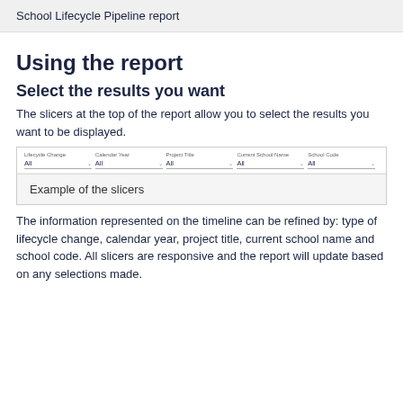School Lifecycle Pipeline report
Using the report
Select the results you want
The slicers at the top of the report allow you to select the results you want to be displayed.
[Figure (screenshot): A screenshot of slicer controls with dropdowns for: Lifecycle Change (All), Calendar Year (All), Project Title (All), Current School Name (All), School Code (All)]
Example of the slicers
The information represented on the timeline can be refined by: type of lifecycle change, calendar year, project title, current school name and school code. All slicers are responsive and the report will update based on any selections made.